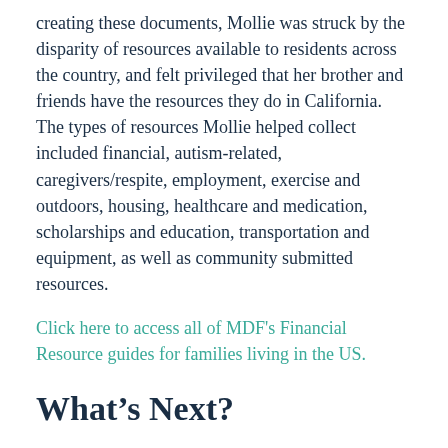creating these documents, Mollie was struck by the disparity of resources available to residents across the country, and felt privileged that her brother and friends have the resources they do in California. The types of resources Mollie helped collect included financial, autism-related, caregivers/respite, employment, exercise and outdoors, housing, healthcare and medication, scholarships and education, transportation and equipment, as well as community submitted resources.
Click here to access all of MDF's Financial Resource guides for families living in the US.
What's Next?
Following her volunteer work at MDF, Mollie has returned to finish her BA in Communication and Film Studies at Boston College. Though college, like many